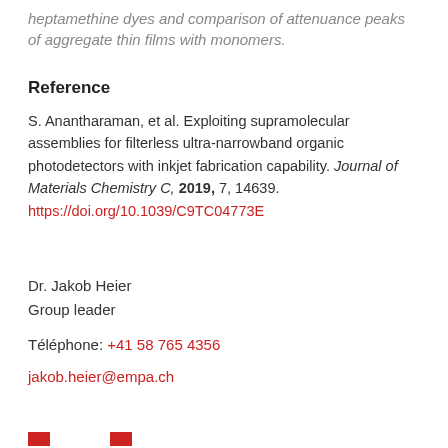heptamethine dyes and comparison of attenuance peaks of aggregate thin films with monomers.
Reference
S. Anantharaman, et al. Exploiting supramolecular assemblies for filterless ultra-narrowband organic photodetectors with inkjet fabrication capability. Journal of Materials Chemistry C, 2019, 7, 14639. https://doi.org/10.1039/C9TC04773E
Dr. Jakob Heier
Group leader
Téléphone: +41 58 765 4356
jakob.heier@empa.ch